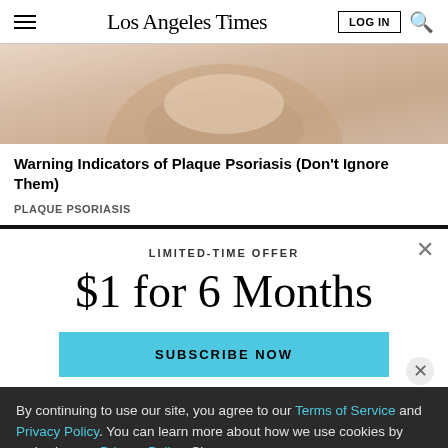Los Angeles Times
[Figure (photo): Close-up photo of a fingernail, beige/skin tone background, related to plaque psoriasis article]
Warning Indicators of Plaque Psoriasis (Don't Ignore Them)
PLAQUE PSORIASIS
LIMITED-TIME OFFER
$1 for 6 Months
SUBSCRIBE NOW
By continuing to use our site, you agree to our Terms of Service and Privacy Policy. You can learn more about how we use cookies by reviewing our Privacy Policy. Close